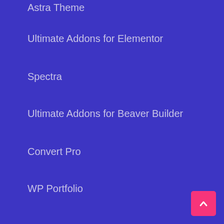Astra Theme
Ultimate Addons for Elementor
Spectra
Ultimate Addons for Beaver Builder
Convert Pro
WP Portfolio
RESOURCES
What's New
Translation Project
Affiliate Program
Brand Assets
SkillJet Academy